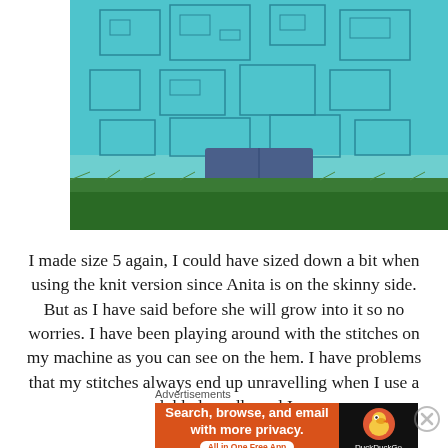[Figure (photo): Photo of a child wearing a teal/turquoise patterned dress with denim shorts visible underneath, standing on grass outdoors. Only the lower body is visible.]
I made size 5 again, I could have sized down a bit when using the knit version since Anita is on the skinny side.  But as I have said before she will grow into it so no worries.  I have been playing around with the stitches on my machine as you can see on the hem.  I have problems that my stitches always end up unravelling when I use a dobbel needle and I
Advertisements
[Figure (screenshot): DuckDuckGo advertisement banner: orange left section with text 'Search, browse, and email with more privacy. All in One Free App'; black right section with DuckDuckGo duck logo and brand name.]